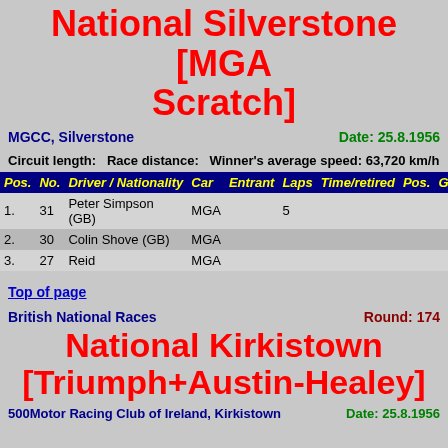National Silverstone [MGA Scratch]
MGCC, Silverstone   Date: 25.8.1956
Circuit length:    Race distance:    Winner's average speed: 63,720 km/h
| Pos. | No. | Driver / Nationality | Car | Entrant | Laps | Time/retired | Pos. | Group Pos. | Pr |
| --- | --- | --- | --- | --- | --- | --- | --- | --- | --- |
| 1. | 31 | Peter Simpson (GB) | MGA |  | 5 |  |  |  |  |
| 2. | 30 | Colin Shove (GB) | MGA |  |  |  |  |  |  |
| 3. | 27 | Reid | MGA |  |  |  |  |  |  |
Top of page
British National Races   Round: 174
National Kirkistown [Triumph+Austin-Healey]
500Motor Racing Club of Ireland, Kirkistown   Date: 25.8.1956